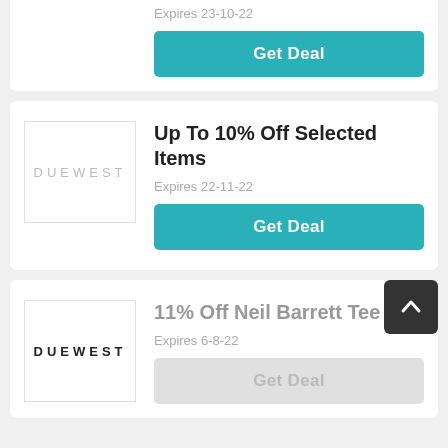Expires 23-10-22
Get Deal
Up To 10% Off Selected Items
Expires 22-11-22
Get Deal
11% Off Neil Barrett Tee
Expires 6-8-22
Get Deal